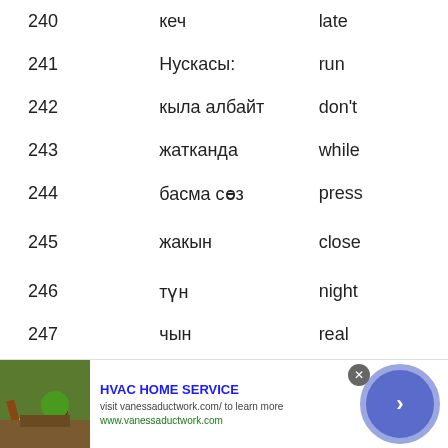| # | Kyrgyz | English |
| --- | --- | --- |
| 240 | кеч | late |
| 241 | Нускасы: | run |
| 242 | кыла албайт | don't |
| 243 | жатканда | while |
| 244 | басма сөз | press |
| 245 | жакын | close |
| 246 | түн | night |
| 247 | чын | real |
| 248 | жашоо | life |
[Figure (other): Advertisement banner: HVAC HOME SERVICE - visit vanessaductwork.com/ to learn more. www.vanessaductwork.com]